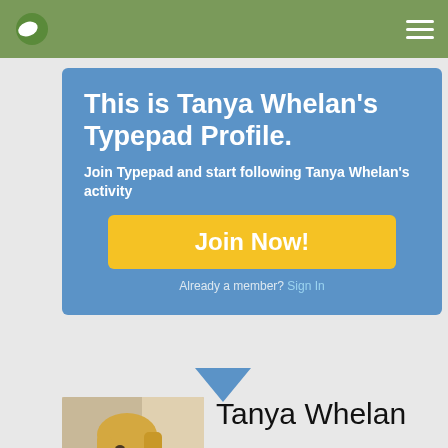Typepad navigation bar with logo and hamburger menu
This is Tanya Whelan's Typepad Profile.
Join Typepad and start following Tanya Whelan's activity
Join Now!
Already a member? Sign In
[Figure (photo): Photo of Tanya Whelan, a blonde woman sewing or crafting]
Tanya Whelan
Interests: textiles, old stuff, sewing, crafting, old movies